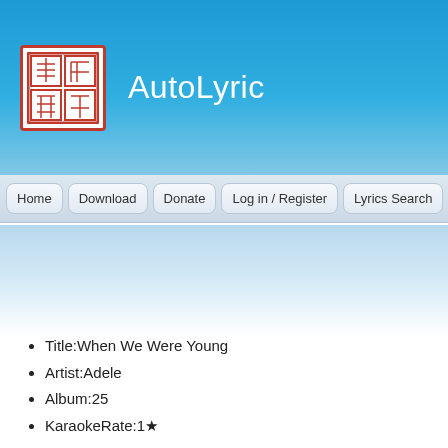AutoLyric
Title:When We Were Young
Artist:Adele
Album:25
KaraokeRate:1★
Languages:en
Remark:
Uploader: